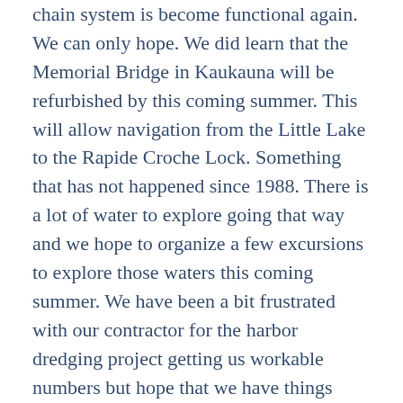chain system is become functional again. We can only hope. We did learn that the Memorial Bridge in Kaukauna will be refurbished by this coming summer. This will allow navigation from the Little Lake to the Rapide Croche Lock. Something that has not happened since 1988. There is a lot of water to explore going that way and we hope to organize a few excursions to explore those waters this coming summer. We have been a bit frustrated with our contractor for the harbor dredging project getting us workable numbers but hope that we have things back on track. The main issue is what to do with all the material they need to remove. Our hope is that they can help allow us a...